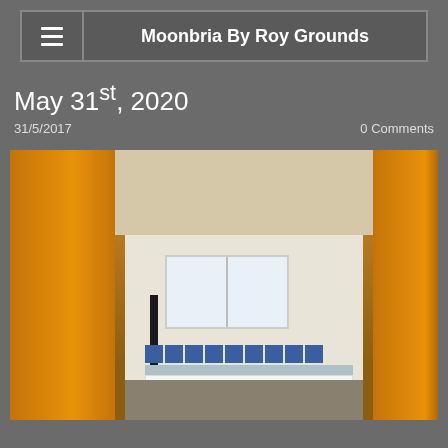Moonbria By Roy Grounds
May 31st, 2020
31/5/2017
0 Comments
[Figure (photo): Interior view of a kitchen through a doorway, flanked by orange/wood-tone cabinet panels. The kitchen has white lower cabinets, a blue tile backsplash, a stove, oven, and a window with bright light.]